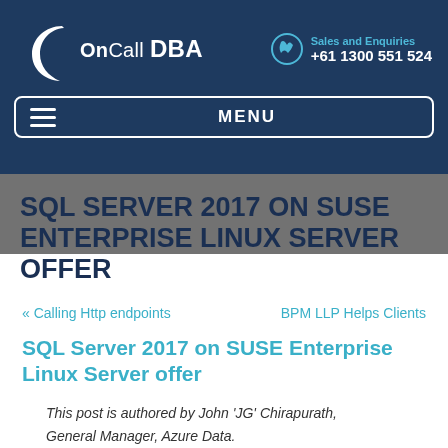OnCall DBA — Sales and Enquiries +61 1300 551 524 — MENU
SQL SERVER 2017 ON SUSE ENTERPRISE LINUX SERVER OFFER
« Calling Http endpoints   BPM LLP Helps Clients
SQL Server 2017 on SUSE Enterprise Linux Server offer
This post is authored by John 'JG' Chirapurath, General Manager, Azure Data.